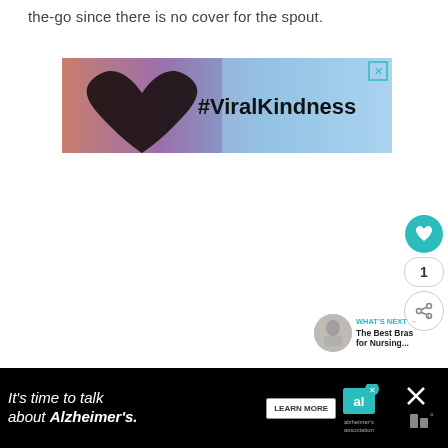the-go since there is no cover for the spout.
[Figure (screenshot): Advertisement banner showing hands forming a heart shape against a colorful sunset sky, with the text #ViralKindness and a close (X) button in the top right corner.]
[Figure (screenshot): Sidebar UI showing a teal heart (like) button, a count of 1, and a share button with a plus icon.]
[Figure (screenshot): What's Next widget showing a thumbnail image and text: WHAT'S NEXT → The Best Bras for Nursing...]
[Figure (screenshot): Bottom advertisement banner with black background: It's time to talk about Alzheimer's. with a LEARN MORE button and Alzheimer's Association logo.]